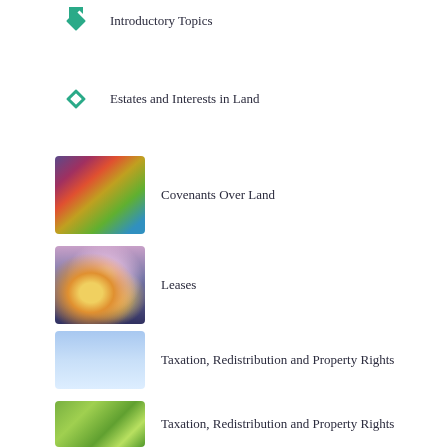Introductory Topics
Estates and Interests in Land
Covenants Over Land
Leases
Taxation, Redistribution and Property Rights
Taxation, Redistribution and Property Rights